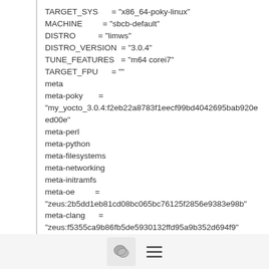TARGET_SYS      = "x86_64-poky-linux"
MACHINE         = "sbcb-default"
DISTRO          = "limws"
DISTRO_VERSION  = "3.0.4"
TUNE_FEATURES   = "m64 corei7"
TARGET_FPU      = ""
meta
meta-poky       =
"my_yocto_3.0.4:f2eb22a8783f1eecf99bd4042695bab920eed00e"
meta-perl
meta-python
meta-filesystems
meta-networking
meta-initramfs
meta-oe         =
"zeus:2b5dd1eb81cd08bc065bc76125f2856e9383e98b"
meta-clang      =
"zeus:f5355ca9b86fb5de5930132ffd95a9b352d694f9"